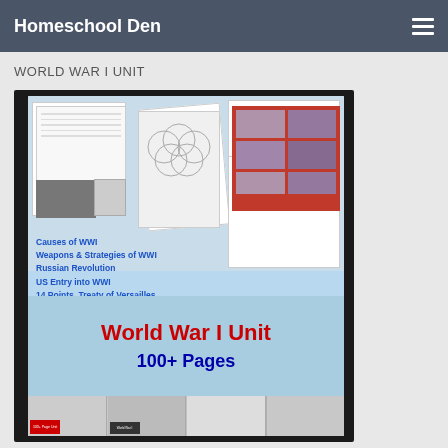Homeschool Den
WORLD WAR I UNIT
[Figure (illustration): World War I Unit educational product image showing worksheet pages, graphic organizers, photos, a red bulletin board display, and text listing topics: Causes of WWI, Weapons & Strategies of WWI, Russian Revolution, US Entry into WWI, 14 Points, Treaty of Versailles. Large red text reads 'World War I Unit' and blue text reads '100+ Pages'. Bottom shows thumbnail previews of included pages.]